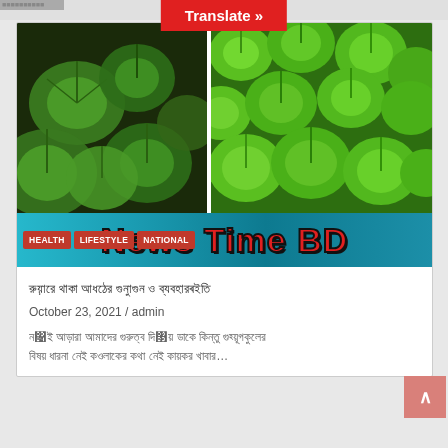[Figure (other): Red 'Translate »' button at top center of page]
[Figure (photo): Left photo: close-up of round green leaves (Centella asiatica / gotu kola) with dark background]
[Figure (photo): Right photo: dense bright green round leaves covering the frame]
[Figure (logo): News Time BD banner logo with HEALTH, LIFESTYLE, NATIONAL tags on teal/cyan background]
Bengali headline text (Bangla script)
October 23, 2021 / admin
Bengali excerpt text (Bangla script)...